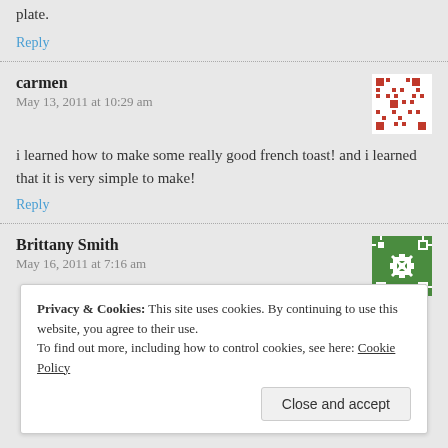plate.
Reply
carmen
May 13, 2011 at 10:29 am
i learned how to make some really good french toast! and i learned that it is very simple to make!
Reply
Brittany Smith
May 16, 2011 at 7:16 am
Privacy & Cookies: This site uses cookies. By continuing to use this website, you agree to their use. To find out more, including how to control cookies, see here: Cookie Policy
Close and accept